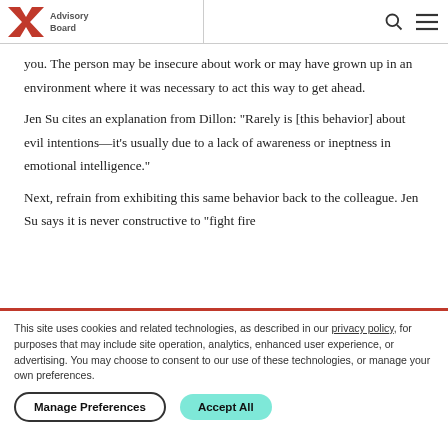Advisory Board
you. The person may be insecure about work or may have grown up in an environment where it was necessary to act this way to get ahead.
Jen Su cites an explanation from Dillon: "Rarely is [this behavior] about evil intentions—it's usually due to a lack of awareness or ineptness in emotional intelligence."
Next, refrain from exhibiting this same behavior back to the colleague. Jen Su says it is never constructive to "fight fire
This site uses cookies and related technologies, as described in our privacy policy, for purposes that may include site operation, analytics, enhanced user experience, or advertising. You may choose to consent to our use of these technologies, or manage your own preferences.